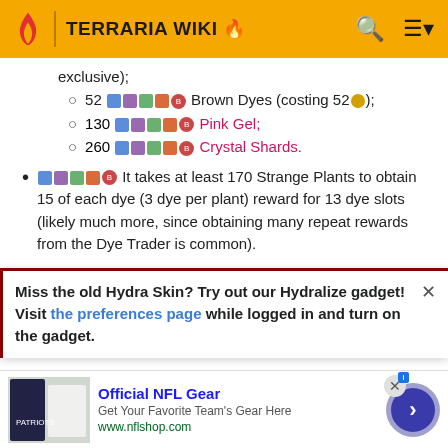TERRARIA WIKI
exclusive);
52 [platform icons] Brown Dyes (costing 52[coin]);
130 [platform icons] Pink Gel;
260 [platform icons] Crystal Shards.
[platform icons] It takes at least 170 Strange Plants to obtain 15 of each dye (3 dye per plant) reward for 13 dye slots (likely much more, since obtaining many repeat rewards from the Dye Trader is common).
Miss the old Hydra Skin? Try out our Hydralize gadget! Visit the preferences page while logged in and turn on the gadget.
Mushrooms, Blue Berries, Purple Mucuses, Violet...
Official NFL Gear - Get Your Favorite Team's Gear Here - www.nflshop.com